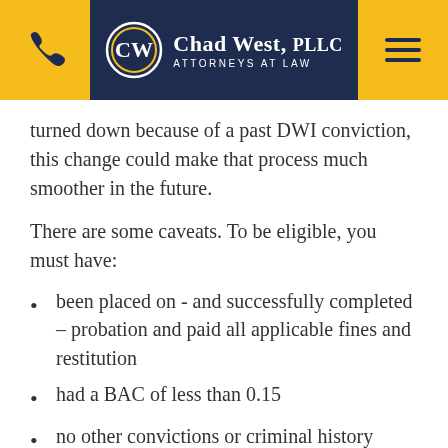Chad West, PLLC | ATTORNEYS AT LAW
turned down because of a past DWI conviction, this change could make that process much smoother in the future.
There are some caveats. To be eligible, you must have:
been placed on - and successfully completed – probation and paid all applicable fines and restitution
had a BAC of less than 0.15
no other convictions or criminal history other than traffic violations
not been involved in an accident involving